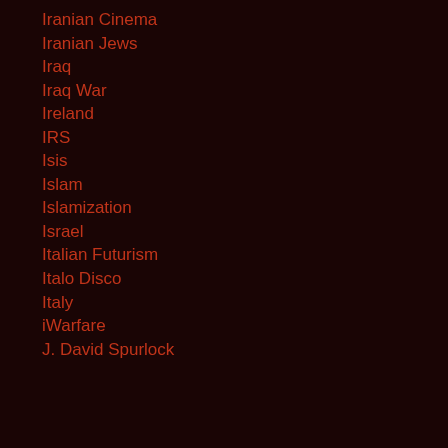Iranian Cinema
Iranian Jews
Iraq
Iraq War
Ireland
IRS
Isis
Islam
Islamization
Israel
Italian Futurism
Italo Disco
Italy
iWarfare
J. David Spurlock